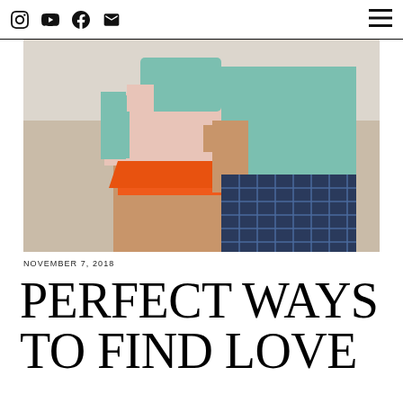Instagram | YouTube | Facebook | Email | Menu
[Figure (photo): A couple embracing on a beach. The woman wears an orange bikini bottom and a light pink top; the man wears a teal hoodie and dark plaid shorts. Photo is cropped to show torsos and arms.]
NOVEMBER 7, 2018
PERFECT WAYS TO FIND LOVE